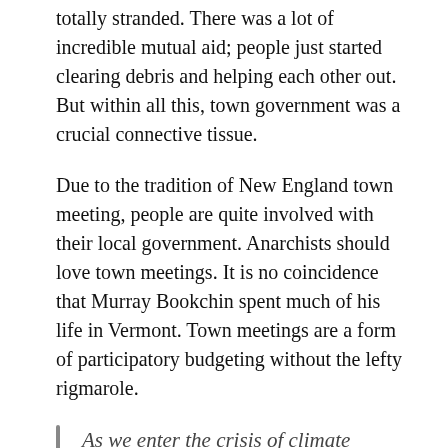totally stranded. There was a lot of incredible mutual aid; people just started clearing debris and helping each other out. But within all this, town government was a crucial connective tissue.
Due to the tradition of New England town meeting, people are quite involved with their local government. Anarchists should love town meetings. It is no coincidence that Murray Bookchin spent much of his life in Vermont. Town meetings are a form of participatory budgeting without the lefty rigmarole.
As we enter the crisis of climate change, it's important to be aware of the actually existing legal and institutional mechanisms with which we can contain and control capital.